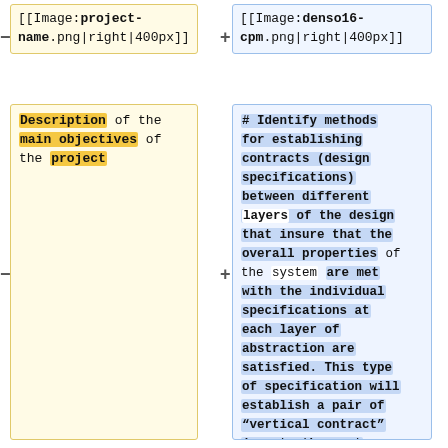[[Image:project-name.png|right|400px]]
[[Image:denso16-cpm.png|right|400px]]
Description of the main objectives of the project
# Identify methods for establishing contracts (design specifications) between different layers of the design that insure that the overall properties of the system are met with the individual specifications at each layer of abstraction are satisfied. This type of specification will establish a pair of “vertical contract” (one to the next layer down in the